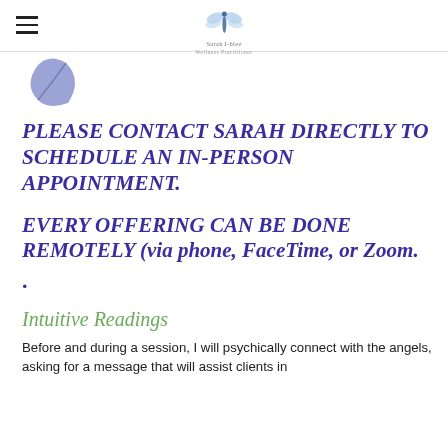Sarah Iblee — logo and hamburger menu
[Figure (illustration): A blue/purple dragonfly wing or leaf icon in the upper left area below the header]
PLEASE CONTACT SARAH DIRECTLY TO SCHEDULE AN IN-PERSON APPOINTMENT.
EVERY OFFERING CAN BE DONE REMOTELY (via phone, FaceTime, or Zoom.
.
Intuitive Readings
Before and during a session, I will psychically connect with the angels, asking for a message that will assist clients in